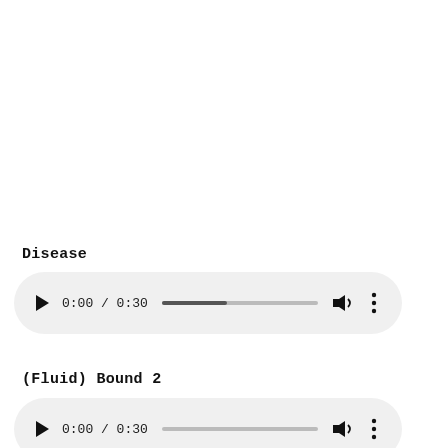Disease
[Figure (screenshot): Audio player UI for 'Disease' showing play button, time 0:00 / 0:30, progress bar, volume icon, and more options icon]
(Fluid) Bound 2
[Figure (screenshot): Audio player UI for '(Fluid) Bound 2' showing play button, time 0:00 / 0:30, progress bar, volume icon, and more options icon]